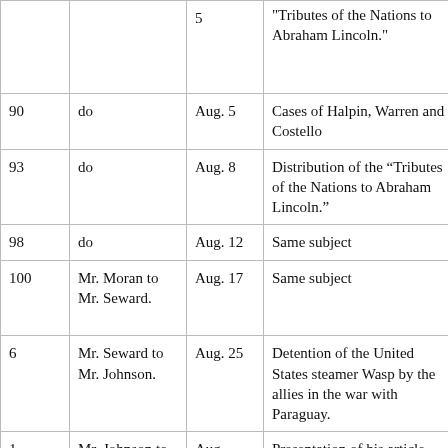| No. | Correspondent | Date | Subject | Page |
| --- | --- | --- | --- | --- |
|  |  | [5] | "Tributes of the Nations to Abraham Lincoln." |  |
| 90 | do | Aug. 5 | Cases of Halpin, Warren and Costello | 341 |
| 93 | do | Aug. 8 | Distribution of the “Tributes of the Nations to Abraham Lincoln.” | 344 |
| 98 | do | Aug. 12 | Same subject | 345 |
| 100 | Mr. Moran to Mr. Seward. | Aug. 17 | Same subject | 346 |
| 6 | Mr. Seward to Mr. Johnson. | Aug. 25 | Detention of the United States steamer Wasp by the allies in the war with Paraguay. | 347 |
| 1 | Mr. Johnson to ... | Aug. ... | Presentation of his ... article ... | 347 |